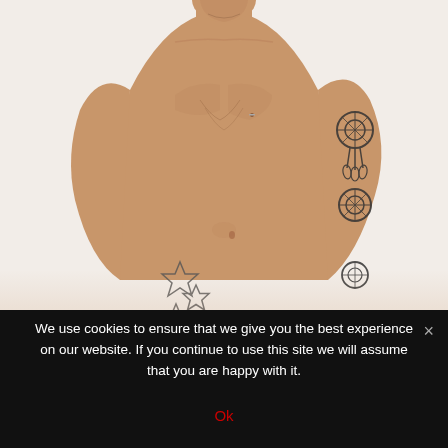[Figure (photo): Photo of a shirtless man from the torso up, showing chest, shoulders, and face partially at top. He has a dreamcatcher tattoo on his right upper arm and star outline tattoos on lower left abdomen. White background.]
We use cookies to ensure that we give you the best experience on our website. If you continue to use this site we will assume that you are happy with it.
Ok